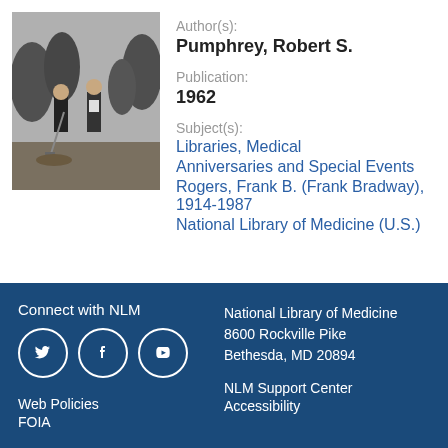[Figure (photo): Black and white photograph of two men in suits at an outdoor groundbreaking ceremony, one holding a shovel]
Author(s): Pumphrey, Robert S.
Publication: 1962
Subject(s): Libraries, Medical | Anniversaries and Special Events | Rogers, Frank B. (Frank Bradway), 1914-1987 | National Library of Medicine (U.S.)
Connect with NLM | National Library of Medicine 8600 Rockville Pike Bethesda, MD 20894 | Web Policies | FOIA | NLM Support Center | Accessibility